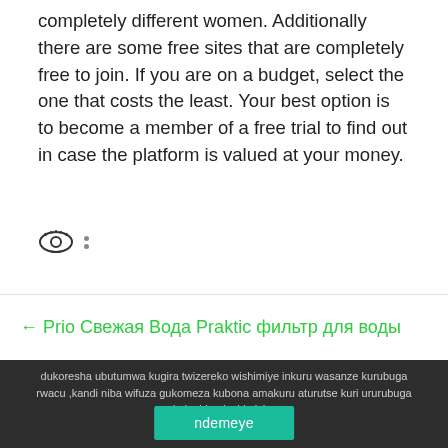completely different women. Additionally there are some free sites that are completely free to join. If you are on a budget, select the one that costs the least. Your best option is to become a member of a free trial to find out in case the platform is valued at your money.
[Figure (illustration): Eye icon with two dots (vertical ellipsis menu icon) to the right]
← Prio Свежая Вода Praktic фильтр для воды
dukoresha ubutumwa kugira twizereko wishimiye inkuru wasanze kurubuga rwacu ,kandi niba wifuza gukomeza kubona amakuru aturutse kuri ururubuga kuko bizadushimisha
ndemeye